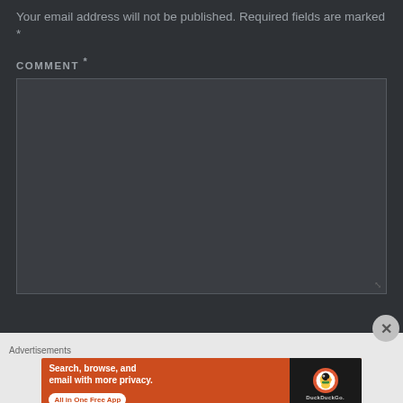Your email address will not be published. Required fields are marked *
COMMENT *
[Figure (screenshot): Empty comment text area input box with dark background and resize handle]
[Figure (screenshot): Close button (X) circle icon]
Advertisements
[Figure (infographic): DuckDuckGo advertisement banner: 'Search, browse, and email with more privacy. All in One Free App' with DuckDuckGo logo on phone]